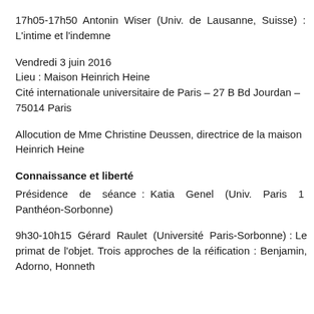17h05-17h50  Antonin  Wiser  (Univ.  de  Lausanne,  Suisse)  : L'intime et l'indemne
Vendredi 3 juin 2016
Lieu : Maison Heinrich Heine
Cité internationale universitaire de Paris – 27 B Bd Jourdan – 75014 Paris
Allocution de Mme Christine Deussen, directrice de la maison Heinrich Heine
Connaissance et liberté
Présidence  de  séance :  Katia  Genel  (Univ.  Paris  1  Panthéon-Sorbonne)
9h30-10h15  Gérard  Raulet  (Université  Paris-Sorbonne) :  Le primat de l'objet. Trois approches de la réification : Benjamin, Adorno, Honneth